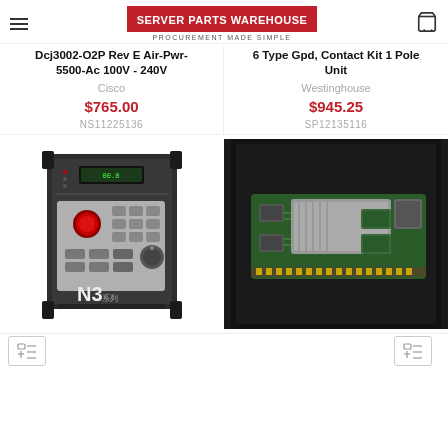SERVER PARTS WAREHOUSE — PROCUREMENT MADE SIMPLE
Dcj3002-O2P Rev E Air-Pwr-5500-Ac 100V - 240V
Cisco
$765.00
NS11225136
6 Type Gpd, Contact Kit 1 Pole Unit
Westinghouse
$945.25
SP12135116
[Figure (photo): N3 series AC drive/VFD unit, dark grey enclosure with red emergency stop button, keypad controls and digital display]
[Figure (photo): Electronic circuit board / server component on dark foam background, showing green PCB with metal connectors]